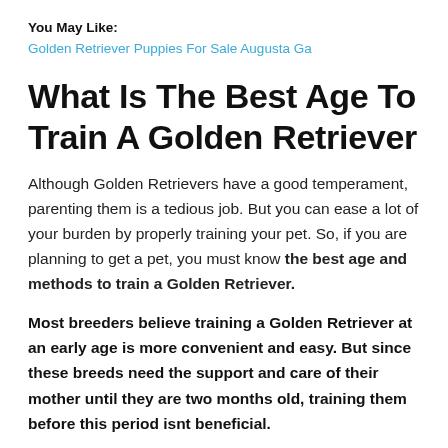You May Like:
Golden Retriever Puppies For Sale Augusta Ga
What Is The Best Age To Train A Golden Retriever
Although Golden Retrievers have a good temperament, parenting them is a tedious job. But you can ease a lot of your burden by properly training your pet. So, if you are planning to get a pet, you must know the best age and methods to train a Golden Retriever.
Most breeders believe training a Golden Retriever at an early age is more convenient and easy. But since these breeds need the support and care of their mother until they are two months old, training them before this period isnt beneficial.